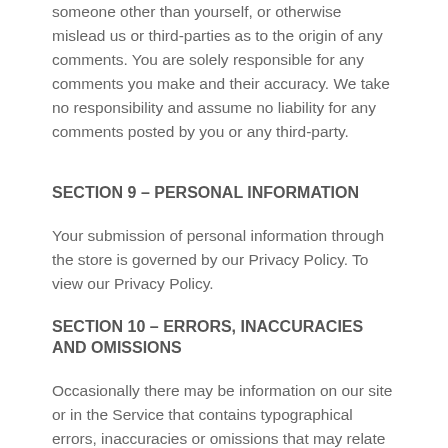someone other than yourself, or otherwise mislead us or third-parties as to the origin of any comments. You are solely responsible for any comments you make and their accuracy. We take no responsibility and assume no liability for any comments posted by you or any third-party.
SECTION 9 – PERSONAL INFORMATION
Your submission of personal information through the store is governed by our Privacy Policy. To view our Privacy Policy.
SECTION 10 – ERRORS, INACCURACIES AND OMISSIONS
Occasionally there may be information on our site or in the Service that contains typographical errors, inaccuracies or omissions that may relate to product descriptions, pricing, promotions, offers, product